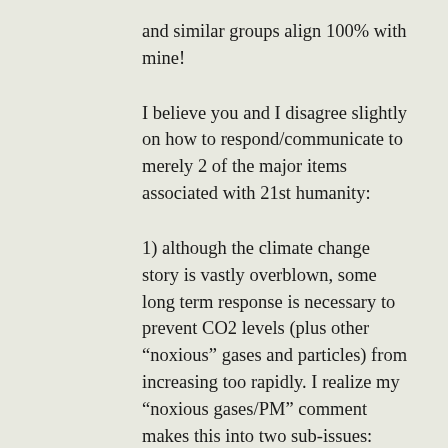and similar groups align 100% with mine!
I believe you and I disagree slightly on how to respond/communicate to merely 2 of the major items associated with 21st humanity:
1) although the climate change story is vastly overblown, some long term response is necessary to prevent CO2 levels (plus other “noxious” gases and particles) from increasing too rapidly. I realize my “noxious gases/PM” comment makes this into two sub-issues: local AQ and Climate Change. Of course, ambient air polln is continuing